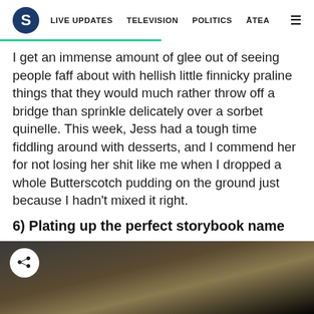S | LIVE UPDATES  TELEVISION  POLITICS  ĀTEA  ≡
I get an immense amount of glee out of seeing people faff about with hellish little finnicky praline things that they would much rather throw off a bridge than sprinkle delicately over a sorbet quinelle. This week, Jess had a tough time fiddling around with desserts, and I commend her for not losing her shit like me when I dropped a whole Butterscotch pudding on the ground just because I hadn't mixed it right.
6) Plating up the perfect storybook name
[Figure (photo): Photo of a person, partially visible, dark background with warm tones. Share button icon overlaid in top-left corner.]